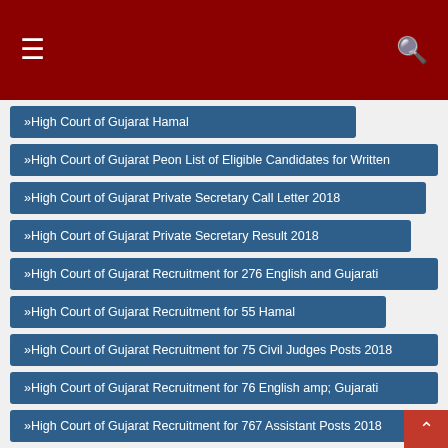Navigation header with hamburger menu and search icon
High Court of Gujarat Hamal
High Court of Gujarat Peon List of Eligible Candidates for Written
High Court of Gujarat Private Secretary Call Letter 2018
High Court of Gujarat Private Secretary Result 2018
High Court of Gujarat Recruitment for 276 English and Gujarati
High Court of Gujarat Recruitment for 55 Hamal
High Court of Gujarat Recruitment for 75 Civil Judges Posts 2018
High Court of Gujarat Recruitment for 76 English amp; Gujarati
High Court of Gujarat Recruitment for 767 Assistant Posts 2018
High Court of Gujarat Recruitment for Assistant Librarian Post 2018
High Court of Gujarat Recruitment for Court Manager Posts 2018
High Court of Gujarat Recruitment for District Judges Posts 2018